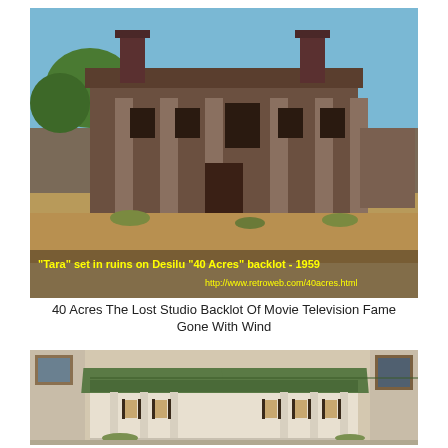[Figure (photo): Color photograph of the 'Tara' plantation set in ruins on the Desilu '40 Acres' backlot in 1959. Shows a deteriorating antebellum mansion facade with columns, broken windows, two brick chimneys, and overgrown grounds. Yellow text overlay reads: "Tara" set in ruins on Desilu "40 Acres" backlot - 1959, and http://www.retroweb.com/40acres.html]
40 Acres The Lost Studio Backlot Of Movie Television Fame
Gone With Wind
[Figure (photo): Color photograph of a scale model/miniature of the Tara plantation house from Gone With the Wind. Shows a white antebellum mansion model with green roof, columns, shuttered windows, and landscaping details on a display surface.]